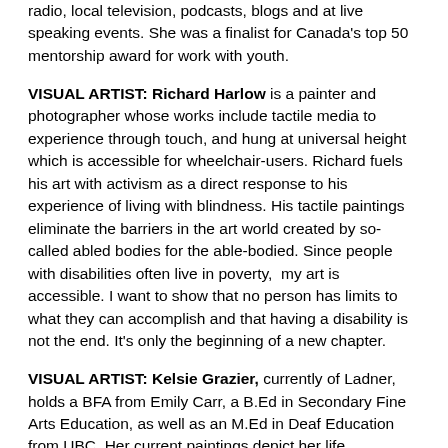her experiences with Bipolar Disorder and Anxiety Disorder on radio, local television, podcasts, blogs and at live speaking events. She was a finalist for Canada's top 50 mentorship award for work with youth.
VISUAL ARTIST: Richard Harlow is a painter and photographer whose works include tactile media to experience through touch, and hung at universal height which is accessible for wheelchair-users. Richard fuels his art with activism as a direct response to his experience of living with blindness. His tactile paintings eliminate the barriers in the art world created by so-called abled bodies for the able-bodied. Since people with disabilities often live in poverty,  my art is accessible. I want to show that no person has limits to what they can accomplish and that having a disability is not the end. It's only the beginning of a new chapter.
VISUAL ARTIST: Kelsie Grazier, currently of Ladner, holds a BFA from Emily Carr, a B.Ed in Secondary Fine Arts Education, as well as an M.Ed in Deaf Education from UBC. Her current paintings depict her life experiences of suddenly becoming profoundly deaf while completing her second degree. She